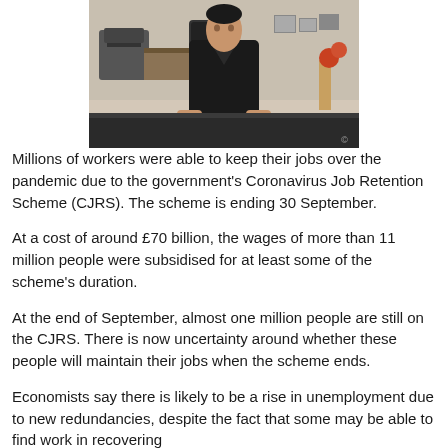[Figure (photo): A man in a black suit standing behind a dark counter or desk in an office setting]
Millions of workers were able to keep their jobs over the pandemic due to the government's Coronavirus Job Retention Scheme (CJRS). The scheme is ending 30 September.
At a cost of around £70 billion, the wages of more than 11 million people were subsidised for at least some of the scheme's duration.
At the end of September, almost one million people are still on the CJRS. There is now uncertainty around whether these people will maintain their jobs when the scheme ends.
Economists say there is likely to be a rise in unemployment due to new redundancies, despite the fact that some may be able to find work in recovering